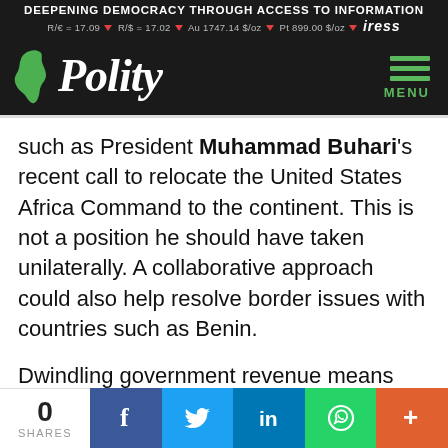DEEPENING DEMOCRACY THROUGH ACCESS TO INFORMATION
R/€ = 17.09 ▼  R/$ = 17.02 ▼  Au 1747.14 $/oz ▼  Pt 899.00 $/oz ▼  iress
[Figure (logo): Polity website logo: green Africa map silhouette with italic white 'Polity' text on dark background, green hamburger menu icon with MENU label]
such as President Muhammad Buhari's recent call to relocate the United States Africa Command to the continent. This is not a position he should have taken unilaterally. A collaborative approach could also help resolve border issues with countries such as Benin.
Dwindling government revenue means Nigeria can no longer use its financial strength to support other countries as a way to expand influence across
0 SHARES  [Facebook] [Twitter] [LinkedIn] [WhatsApp] [+]